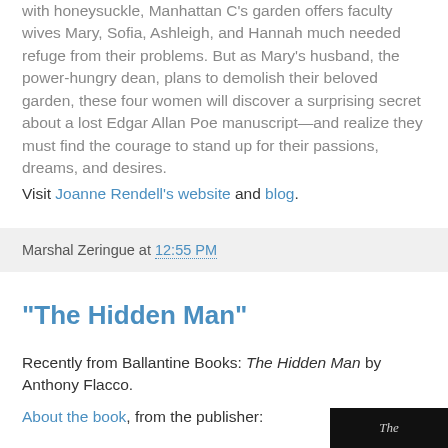with honeysuckle, Manhattan C's garden offers faculty wives Mary, Sofia, Ashleigh, and Hannah much needed refuge from their problems. But as Mary's husband, the power-hungry dean, plans to demolish their beloved garden, these four women will discover a surprising secret about a lost Edgar Allan Poe manuscript—and realize they must find the courage to stand up for their passions, dreams, and desires.
Visit Joanne Rendell's website and blog.
Marshal Zeringue at 12:55 PM
"The Hidden Man"
Recently from Ballantine Books: The Hidden Man by Anthony Flacco.
About the book, from the publisher:
[Figure (photo): Book cover image with dark/black background and script text]